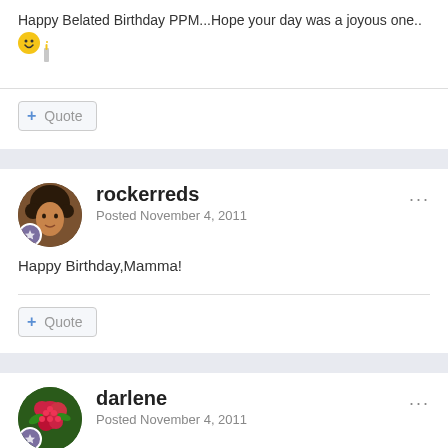Happy Belated Birthday PPM...Hope your day was a joyous one..
😊🕯️
+ Quote
rockerreds
Posted November 4, 2011
Happy Birthday,Mamma!
+ Quote
darlene
Posted November 4, 2011